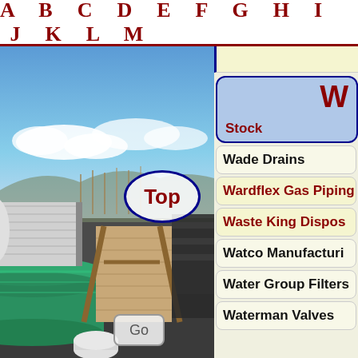A B C D E F G H I J K L M
[Figure (photo): Outdoor photo of stacked PVC pipes and lumber/wooden poles in a yard with blue sky and clouds. Includes a 'Top' oval button overlay and partial 'Go' button.]
W (section heading)
Stock
Wade Drains
Wardflex Gas Piping
Waste King Disposals
Watco Manufacturing
Water Group Filters
Waterman Valves